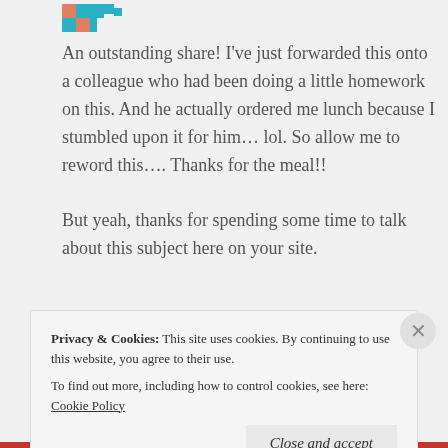[Figure (illustration): Small avatar image with teal/coral pixelated icon]
An outstanding share! I've just forwarded this onto a colleague who had been doing a little homework on this. And he actually ordered me lunch because I stumbled upon it for him… lol. So allow me to reword this…. Thanks for the meal!!

But yeah, thanks for spending some time to talk about this subject here on your site.
★ Like
Reply
Privacy & Cookies:  This site uses cookies. By continuing to use this website, you agree to their use.
To find out more, including how to control cookies, see here: Cookie Policy
Close and accept